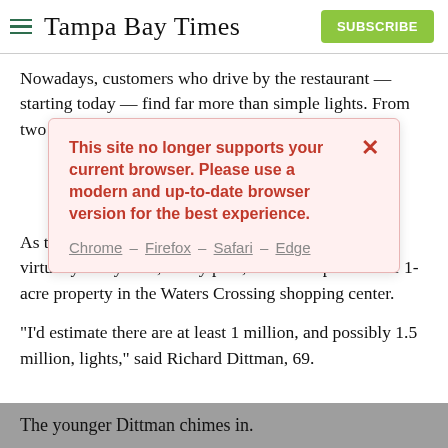Tampa Bay Times
Nowadays, customers who drive by the restaurant — starting today — find far more than simple lights. From two blocks away, ni… en, red and whit…
[Figure (screenshot): Browser compatibility warning modal dialog with text: 'This site no longer supports your current browser. Please use a modern and up-to-date browser version for the best experience.' with browser links: Chrome – Firefox – Safari – Edge and a close (×) button.]
As they … y radiance … g from virtually every wall, utility pole, and fence post on the 1-acre property in the Waters Crossing shopping center.
"I'd estimate there are at least 1 million, and possibly 1.5 million, lights," said Richard Dittman, 69.
The younger Dittman chimes in.